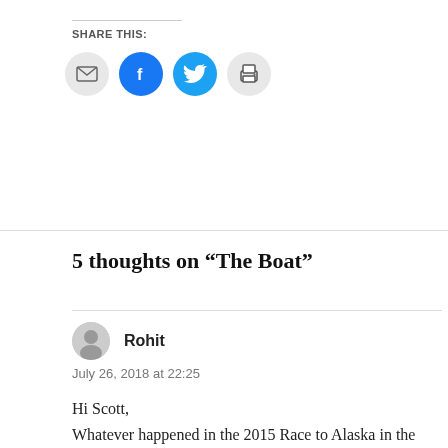SHARE THIS:
[Figure (infographic): Four circular social share icons: email (grey), Facebook (blue), Twitter (cyan), print (grey)]
5 thoughts on “The Boat”
Rohit
July 26, 2018 at 22:25
Hi Scott,

Whatever happened in the 2015 Race to Alaska in the Hitia 17? Is there a write up anywhere? I saw the Hitia 17 and the Tiki 21 halt on an island for a long time, but after the race there was pretty much radio